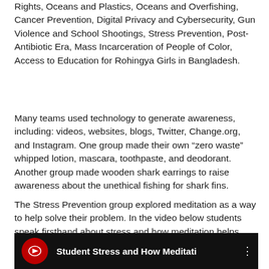Rights, Oceans and Plastics, Oceans and Overfishing, Cancer Prevention, Digital Privacy and Cybersecurity, Gun Violence and School Shootings, Stress Prevention, Post-Antibiotic Era, Mass Incarceration of People of Color, Access to Education for Rohingya Girls in Bangladesh.
Many teams used technology to generate awareness, including: videos, websites, blogs, Twitter, Change.org, and Instagram. One group made their own “zero waste” whipped lotion, mascara, toothpaste, and deodorant. Another group made wooden shark earrings to raise awareness about the unethical fishing for shark fins.
The Stress Prevention group explored meditation as a way to help solve their problem. In the video below students speak firsthand about stress and how meditation helps them.
[Figure (screenshot): Video thumbnail with dark background showing a red Ohio State-style circular logo icon on the left and white bold text reading 'Student Stress and How Meditati' with a vertical dots menu icon on the right.]